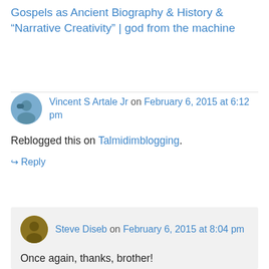Gospels as Ancient Biography & History & “Narrative Creativity” | god from the machine
Vincent S Artale Jr on February 6, 2015 at 6:12 pm
Reblogged this on Talmidimblogging.
↪ Reply
Steve Diseb on February 6, 2015 at 8:04 pm
Once again, thanks, brother!
↪ Reply
Vincent S Artale Jr on February 6,